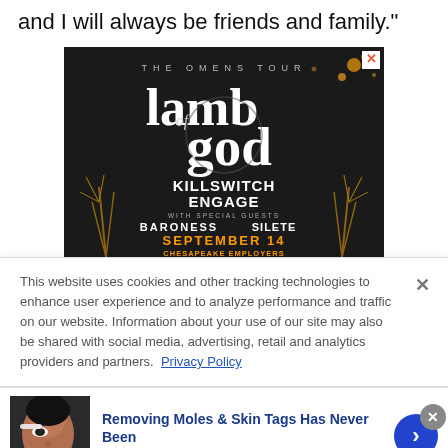and I will always be friends and family."
[Figure (photo): Advertisement for Lamb of God 'The Omens Tour' featuring Killswitch Engage, Baroness, Silete. September 14, Chesapeake Employers. Dark background with decorative golden feathers.]
This website uses cookies and other tracking technologies to enhance user experience and to analyze performance and traffic on our website. Information about your use of our site may also be shared with social media, advertising, retail and analytics providers and partners. Privacy Policy
[Figure (photo): Advertisement thumbnail: woman applying something near her eye]
Removing Moles & Skin Tags Has Never Been
n/a